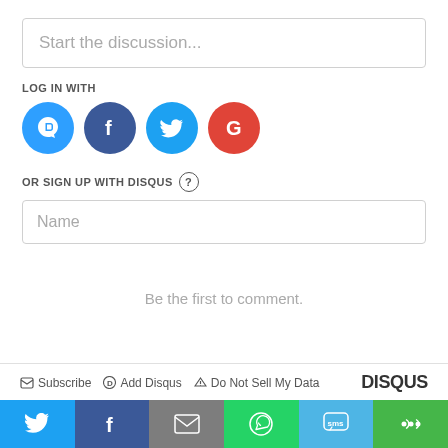Start the discussion...
LOG IN WITH
[Figure (infographic): Social login icons: Disqus (blue circle with D), Facebook (dark blue with f), Twitter (light blue with bird), Google (red with G)]
OR SIGN UP WITH DISQUS ?
Name
Be the first to comment.
Subscribe  Add Disqus  Do Not Sell My Data  DISQUS
[Figure (infographic): Social share buttons bar: Twitter (blue), Facebook (dark blue), Email (gray), WhatsApp (green), SMS (light blue), More (green)]